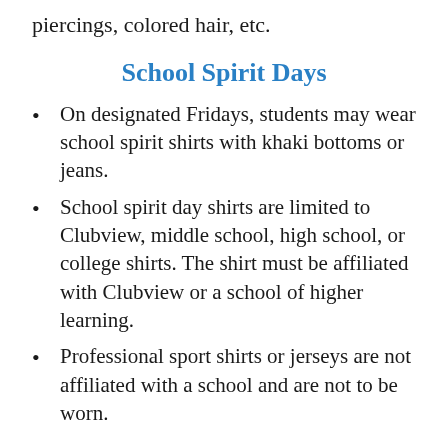piercings, colored hair, etc.
School Spirit Days
On designated Fridays, students may wear school spirit shirts with khaki bottoms or jeans.
School spirit day shirts are limited to Clubview, middle school, high school, or college shirts. The shirt must be affiliated with Clubview or a school of higher learning.
Professional sport shirts or jerseys are not affiliated with a school and are not to be worn.